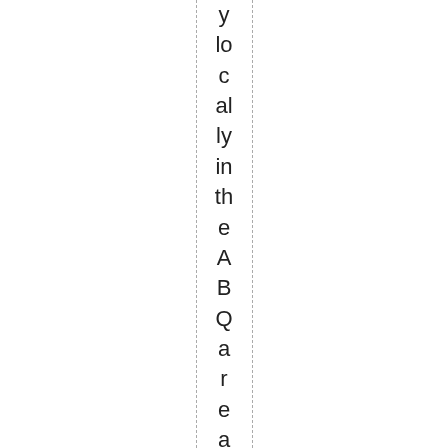y locally in the ABQ area to avoid shipping